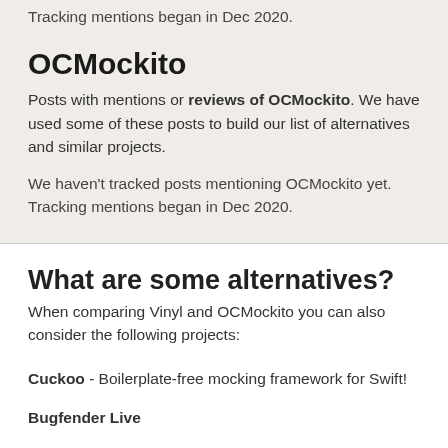Tracking mentions began in Dec 2020.
OCMockito
Posts with mentions or reviews of OCMockito. We have used some of these posts to build our list of alternatives and similar projects.
We haven't tracked posts mentioning OCMockito yet. Tracking mentions began in Dec 2020.
What are some alternatives?
When comparing Vinyl and OCMockito you can also consider the following projects:
Cuckoo - Boilerplate-free mocking framework for Swift!
Bugfender Live